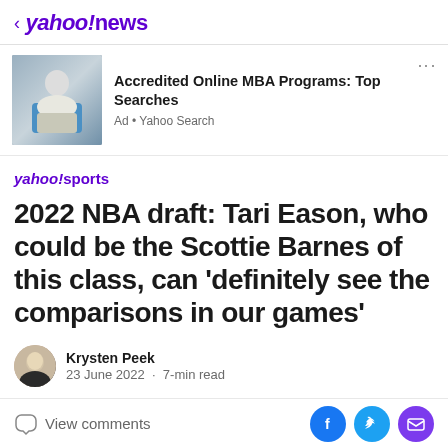< yahoo!news
[Figure (screenshot): Yahoo News advertisement: photo of a woman sitting on a blue couch with text 'Accredited Online MBA Programs: Top Searches' and 'Ad • Yahoo Search']
yahoo!sports
2022 NBA draft: Tari Eason, who could be the Scottie Barnes of this class, can 'definitely see the comparisons in our games'
Krysten Peek
23 June 2022 · 7-min read
View comments